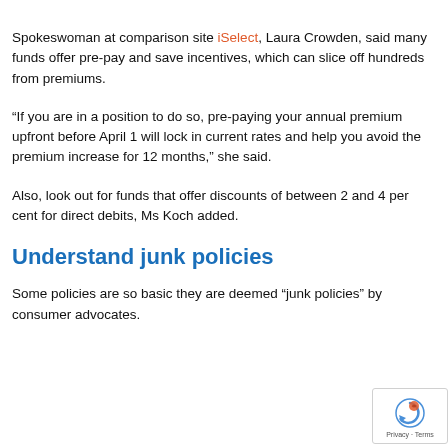Spokeswoman at comparison site iSelect, Laura Crowden, said many funds offer pre-pay and save incentives, which can slice off hundreds from premiums.
“If you are in a position to do so, pre-paying your annual premium upfront before April 1 will lock in current rates and help you avoid the premium increase for 12 months,” she said.
Also, look out for funds that offer discounts of between 2 and 4 per cent for direct debits, Ms Koch added.
Understand junk policies
Some policies are so basic they are deemed “junk policies” by consumer advocates.